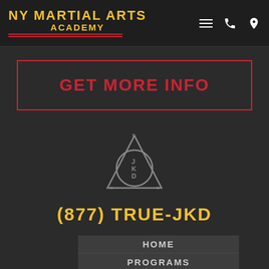[Figure (logo): NY Martial Arts Academy logo with yellow bold text and red underlines]
GET MORE INFO
[Figure (logo): JKD (Jeet Kune Do) symbol: triangle overlapping a circle with letters S, J, K, D, M, B]
(877) TRUE-JKD
HOME
PROGRAMS
BENEFITS